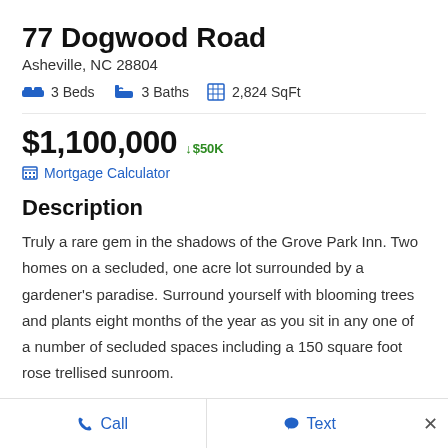77 Dogwood Road
Asheville, NC 28804
3 Beds   3 Baths   2,824 SqFt
$1,100,000 ↓$50K
Mortgage Calculator
Description
Truly a rare gem in the shadows of the Grove Park Inn. Two homes on a secluded, one acre lot surrounded by a gardener's paradise. Surround yourself with blooming trees and plants eight months of the year as you sit in any one of a number of secluded spaces including a 150 square foot rose trellised sunroom.
Call   Text